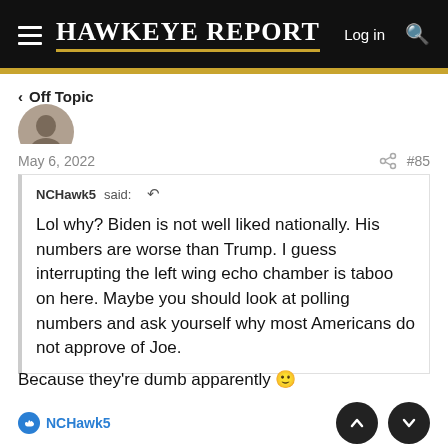Hawkeye Report — Log in
< Off Topic
May 6, 2022  #85
NCHawk5 said: ↺

Lol why? Biden is not well liked nationally. His numbers are worse than Trump. I guess interrupting the left wing echo chamber is taboo on here. Maybe you should look at polling numbers and ask yourself why most Americans do not approve of Joe.
Because they're dumb apparently 🙂
NCHawk5